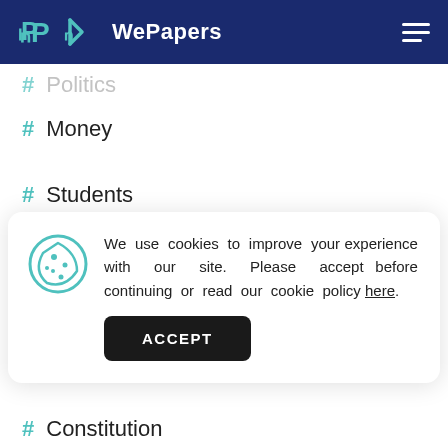WePapers
# Politics
# Money
# Students
We use cookies to improve your experience with our site. Please accept before continuing or read our cookie policy here.
# Shopping
# Constitution